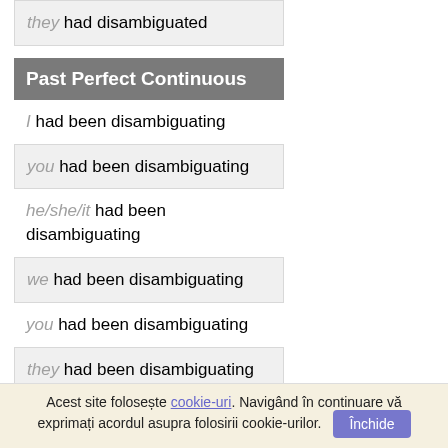they had disambiguated
Past Perfect Continuous
I had been disambiguating
you had been disambiguating
he/she/it had been disambiguating
we had been disambiguating
you had been disambiguating
they had been disambiguating
Acest site folosește cookie-uri. Navigând în continuare vă exprimați acordul asupra folosirii cookie-urilor. Închide